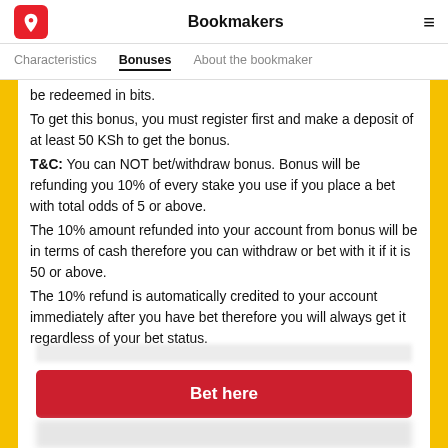Bookmakers
Characteristics | Bonuses | About the bookmaker
be redeemed in bits.
To get this bonus, you must register first and make a deposit of at least 50 KSh to get the bonus.
T&C: You can NOT bet/withdraw bonus. Bonus will be refunding you 10% of every stake you use if you place a bet with total odds of 5 or above.
The 10% amount refunded into your account from bonus will be in terms of cash therefore you can withdraw or bet with it if it is 50 or above.
The 10% refund is automatically credited to your account immediately after you have bet therefore you will always get it regardless of your bet status.
Bet here